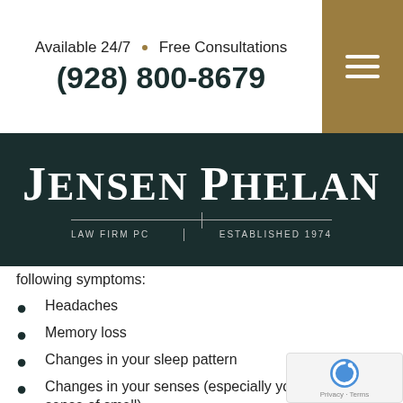Available 24/7 • Free Consultations
(928) 800-8679
[Figure (logo): Jensen Phelan Law Firm PC — Established 1974 logo on dark teal background]
following symptoms:
Headaches
Memory loss
Changes in your sleep pattern
Changes in your senses (especially your sense of smell)
Visual disturbances